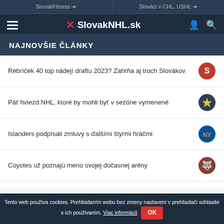SlovakFitness → | Slováci v CHL, USHL →
SlovakNHL.sk
NAJNOVŠIE ČLÁNKY
Rebríček 40 top nádejí draftu 2023? Zahŕňa aj troch Slovákov
Päť hviezd NHL, ktoré by mohli byť v sezóne vymenené
Islanders podpísali zmluvy s ďalšími štyrmi hráčmi
Coyotes už poznajú meno svojej dočasnej arény
Slovenský útočník absolvuje skúšku u Coyotes
Tento web používa cookies. Prehliadaním webu bez zmeny nastavení v prehliadači súhlasite s ich používaním. Viac informácii OK